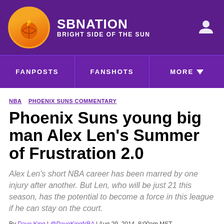SBNATION BRIGHT SIDE OF THE SUN
FANPOSTS FANSHOTS MORE
NBA PHOENIX SUNS COMMENTARY
Phoenix Suns young big man Alex Len's Summer of Frustration 2.0
Alex Len's short NBA career has been marred by one injury after another. But Len, who will be just 21 this season, has the potential to become a force in this league if he can stay on the court.
By Dave King | @DaveKingNBA | Aug 29, 2014, 8:00am MST